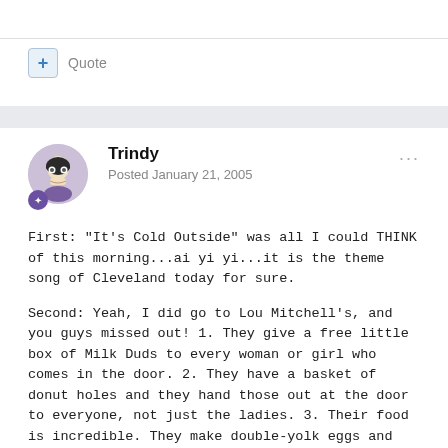+ Quote
Trindy
Posted January 21, 2005
First: "It's Cold Outside" was all I could THINK of this morning...ai yi yi...it is the theme song of Cleveland today for sure.
Second: Yeah, I did go to Lou Mitchell's, and you guys missed out! 1. They give a free little box of Milk Duds to every woman or girl who comes in the door. 2. They have a basket of donut holes and they hand those out at the door to everyone, not just the ladies. 3. Their food is incredible. They make double-yolk eggs and the scrambled ones are scrambled in a blender--makes them lighter than air. Their sausages are huge (why does that sound perverted?), their home fries are crispy, their pancakes are floaty, their coffee is great. Suffice it to say, all who visit Chicago should go. And they really are at the head of "Route 66" so I